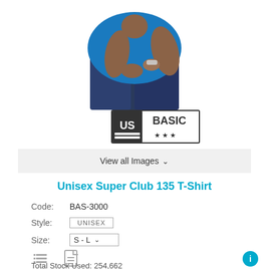[Figure (photo): A person wearing a blue T-shirt and dark jeans, torso visible with crossed arms, and a US BASIC brand logo below]
View all Images ▼
Unisex Super Club 135 T-Shirt
Code:	BAS-3000
Style:	UNISEX
Size:	S - L
Total Stock Used: 254,662